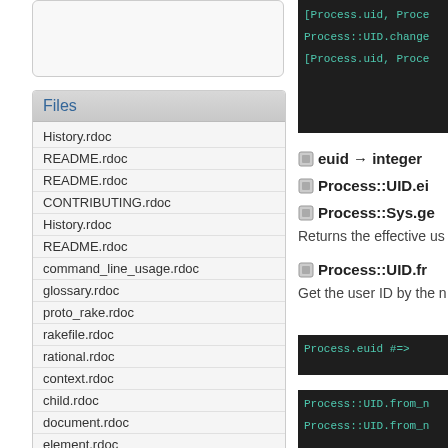[Figure (screenshot): Partially visible rounded box at top left]
Files
History.rdoc
README.rdoc
README.rdoc
CONTRIBUTING.rdoc
History.rdoc
README.rdoc
command_line_usage.rdoc
glossary.rdoc
proto_rake.rdoc
rakefile.rdoc
rational.rdoc
context.rdoc
child.rdoc
document.rdoc
element.rdoc
[Figure (screenshot): Dark code block showing [Process.uid, Process::UID.change [Process.uid, Proce...]
euid → integer
Process::UID.ei
Process::Sys.ge
Returns the effective us
[Figure (screenshot): Dark code block showing Process.euid #=>]
Process::UID.fr
Get the user ID by the n
[Figure (screenshot): Dark code block showing Process::UID.from_n Process::UID.from_n]